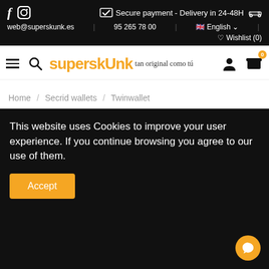f [instagram] Secure payment - Delivery in 24-48H [truck icon] web@superskunk.es | 95 265 78 00 | [UK flag] English v | [heart] Wishlist (0)
[Figure (logo): SuperskUnk logo with tagline 'tan original como tú' with hamburger menu and search icon on left, user and cart icons on right]
Home / Secrid wallets / Twinwallet
This website uses Cookies to improve your user experience. If you continue browsing you agree to our use of them.
Accept